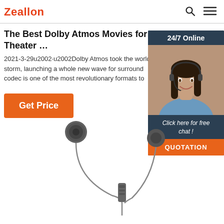Zeallon
The Best Dolby Atmos Movies for Your Home Theater …
2021-3-29u2002·u2002Dolby Atmos took the world of cinema by storm, launching a whole new wave for surround codec is one of the most revolutionary formats to
Get Price
[Figure (photo): Customer service representative woman wearing headset smiling, with '24/7 Online' header, 'Click here for free chat!' text, and 'QUOTATION' orange button below]
[Figure (photo): In-ear earphones/headphones with cable and inline remote, shown against white background]